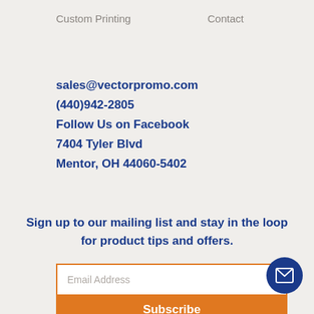Custom Printing    Contact
sales@vectorpromo.com
(440)942-2805
Follow Us on Facebook
7404 Tyler Blvd
Mentor, OH 44060-5402
Sign up to our mailing list and stay in the loop for product tips and offers.
Email Address
Subscribe